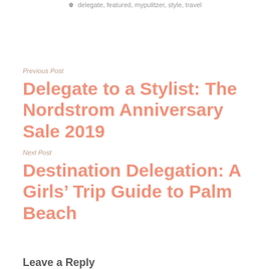delegate, featured, mypulitzer, style, travel
Previous Post
Delegate to a Stylist: The Nordstrom Anniversary Sale 2019
Next Post
Destination Delegation: A Girls’ Trip Guide to Palm Beach
Leave a Reply